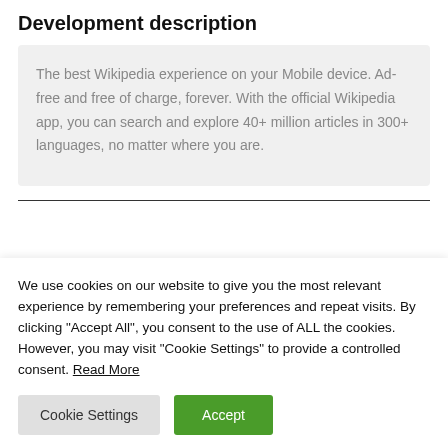Development description
The best Wikipedia experience on your Mobile device. Ad-free and free of charge, forever. With the official Wikipedia app, you can search and explore 40+ million articles in 300+ languages, no matter where you are.
We use cookies on our website to give you the most relevant experience by remembering your preferences and repeat visits. By clicking "Accept All", you consent to the use of ALL the cookies. However, you may visit "Cookie Settings" to provide a controlled consent. Read More